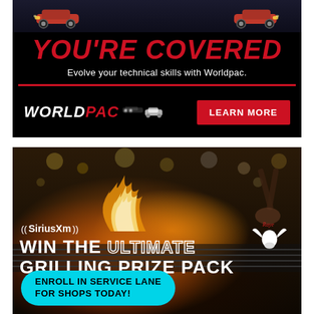[Figure (illustration): Worldpac advertisement with black background. Shows cars at top, large red italic text 'YOU'RE COVERED', subtitle 'Evolve your technical skills with Worldpac.', red horizontal line, Worldpac logo and 'LEARN MORE' red button.]
[Figure (photo): SiriusXM advertisement over a photo of grilling food with flames. Features SiriusXM logo, Raye longhorn logo, text 'WIN THE ULTIMATE GRILLING PRIZE PACK' and teal pill-shaped button 'ENROLL IN SERVICE LANE FOR SHOPS TODAY!']